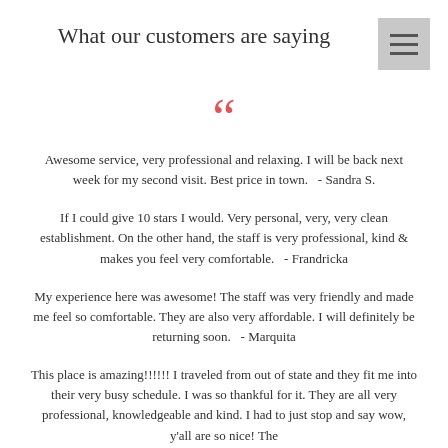What our customers are saying
[Figure (illustration): Red open double quotation mark decorative element]
Awesome service, very professional and relaxing. I will be back next week for my second visit. Best price in town.   - Sandra S.
If I could give 10 stars I would. Very personal, very, very clean establishment. On the other hand, the staff is very professional, kind & makes you feel very comfortable.   - Frandricka
My experience here was awesome! The staff was very friendly and made me feel so comfortable. They are also very affordable. I will definitely be returning soon.   - Marquita
This place is amazing!!!!!! I traveled from out of state and they fit me into their very busy schedule. I was so thankful for it. They are all very professional, knowledgeable and kind. I had to just stop and say wow, y'all are so nice! The